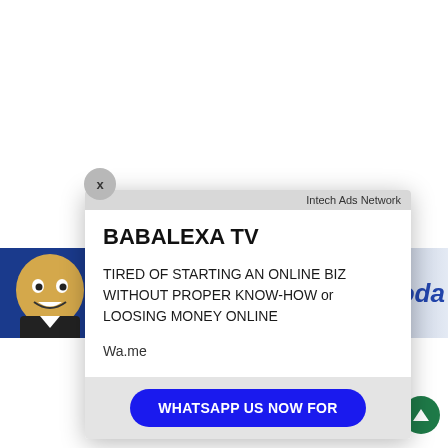[Figure (screenshot): Background blue banner with animated character on left side and italic blue 'toda...' text on right side]
x
Intech Ads Network
BABALEXA TV
TIRED OF STARTING AN ONLINE BIZ WITHOUT PROPER KNOW-HOW or LOOSING MONEY ONLINE
Wa.me
WHATSAPP US NOW FOR